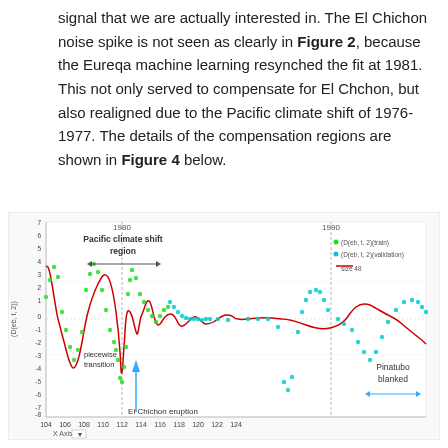signal that we are actually interested in. The El Chichon noise spike is not seen as clearly in Figure 2, because the Eureqa machine learning resynched the fit at 1981. This not only served to compensate for El Chchon, but also realigned due to the Pacific climate shift of 1976-1977. The details of the compensation regions are shown in Figure 4 below.
[Figure (continuous-plot): Line chart showing D(eb, t, 2) vs X Axis values from 104 to 124, with scatter points (train in green, validation in cyan) and a red fitted curve (size 48). Annotations include: '1980' and '1990' vertical reference lines, 'Pacific climate shift region' with double arrow, 'piecewise transition' label, 'El Chichon eruption' with upward arrow, and 'Pinatubo blanked' with double arrow. Y-axis ranges from -8 to 7.]